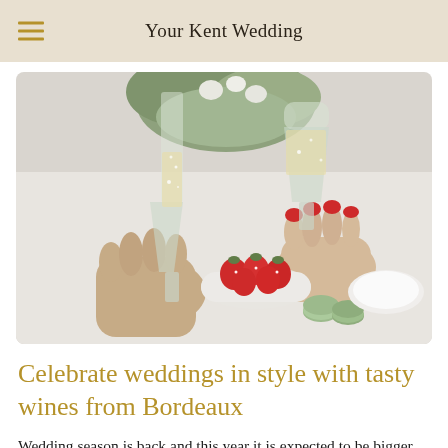Your Kent Wedding
[Figure (photo): Two people clinking champagne flutes over a table set with a bowl of strawberries and green macarons, with flowers in the background]
Celebrate weddings in style with tasty wines from Bordeaux
Wedding season is back and this year it is expected to be bigger than ever. Whether it's a traditional nuptials